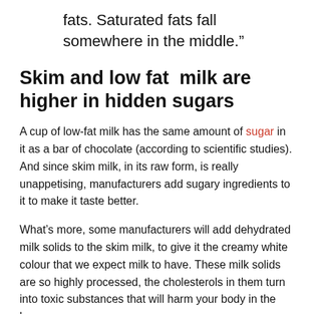fats. Saturated fats fall somewhere in the middle.”
Skim and low fat  milk are higher in hidden sugars
A cup of low-fat milk has the same amount of sugar in it as a bar of chocolate (according to scientific studies). And since skim milk, in its raw form, is really unappetising, manufacturers add sugary ingredients to it to make it taste better.
What’s more, some manufacturers will add dehydrated milk solids to the skim milk, to give it the creamy white colour that we expect milk to have. These milk solids are so highly processed, the cholesterols in them turn into toxic substances that will harm your body in the long run.